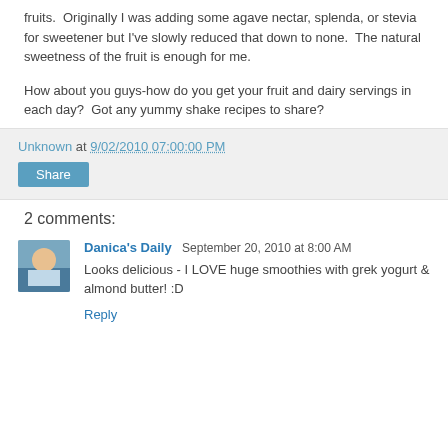fruits.  Originally I was adding some agave nectar, splenda, or stevia for sweetener but I've slowly reduced that down to none.  The natural sweetness of the fruit is enough for me.
How about you guys-how do you get your fruit and dairy servings in each day?  Got any yummy shake recipes to share?
Unknown at 9/02/2010 07:00:00 PM
Share
2 comments:
Danica's Daily September 20, 2010 at 8:00 AM
Looks delicious - I LOVE huge smoothies with grek yogurt & almond butter! :D
Reply